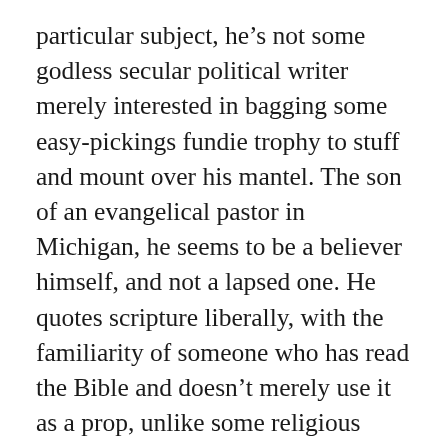particular subject, he's not some godless secular political writer merely interested in bagging some easy-pickings fundie trophy to stuff and mount over his mantel. The son of an evangelical pastor in Michigan, he seems to be a believer himself, and not a lapsed one. He quotes scripture liberally, with the familiarity of someone who has read the Bible and doesn't merely use it as a prop, unlike some religious arrivistes I could mention.
The piece is too long and loaded to adequately summarize here – I printed it off at 21 pages. But Alberta partially shoots his subject through the